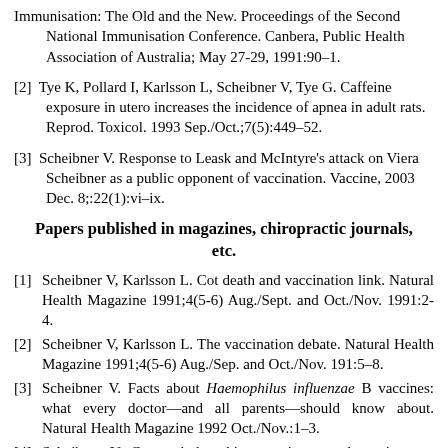[1]  Immunisation: The Old and the New. Proceedings of the Second National Immunisation Conference. Canbera, Public Health Association of Australia; May 27-29, 1991:90–1.
[2]  Tye K, Pollard I, Karlsson L, Scheibner V, Tye G. Caffeine exposure in utero increases the incidence of apnea in adult rats. Reprod. Toxicol. 1993 Sep./Oct.;7(5):449–52.
[3]  Scheibner V. Response to Leask and McIntyre's attack on Viera Scheibner as a public opponent of vaccination. Vaccine, 2003 Dec. 8;:22(1):vi–ix.
Papers published in magazines, chiropractic journals, etc.
[1]  Scheibner V, Karlsson L. Cot death and vaccination link. Natural Health Magazine 1991;4(5-6) Aug./Sept. and Oct./Nov. 1991:2-4.
[2]  Scheibner V, Karlsson L. The vaccination debate. Natural Health Magazine 1991;4(5-6) Aug./Sep. and Oct./Nov. 191:5–8.
[3]  Scheibner V. Facts about Haemophilus influenzae B vaccines: what every doctor—and all parents—should know about. Natural Health Magazine 1992 Oct./Nov.:1–3.
[4]  Scheibner V. Cotwatch breathing monitor guards against cot death. Natural Health Magazine. Dec.1992-Jan.1993:13.